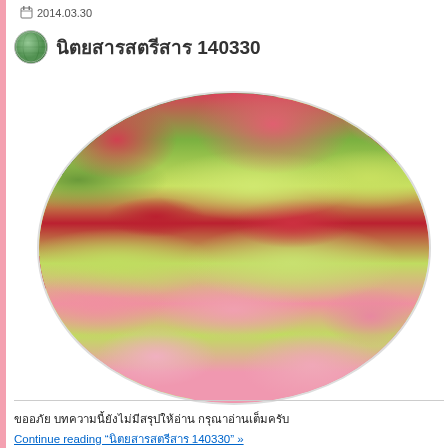2014.03.30
นิตยสารสตรีสาร 140330
[Figure (photo): Oval-shaped floral arrangement photo with pink, red, yellow-green flowers — roses and carnations in alternating color bands]
ขออภัย บทความนี้ยังไม่มีสรุปให้อ่าน กรุณาอ่านเต็มครับ
Continue reading "นิตยสารสตรีสาร 140330" »